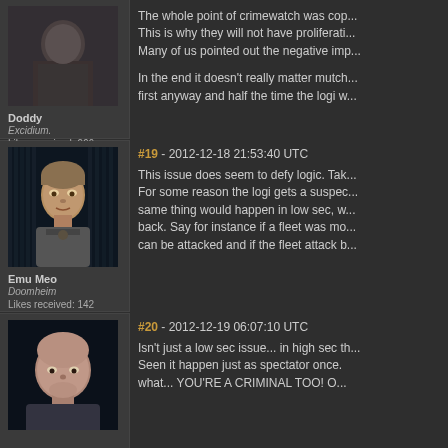[Figure (photo): Forum avatar for user Doddy - dark figure]
Doddy
Excidium.
Likes received: 966
The whole point of crimewatch was cop... This is why they will not have proliferati... Many of us pointed out the negative imp...
In the end it doesn't really matter mutch... first anyway and half the time the logi w...
#19 - 2012-12-18 21:53:40 UTC
[Figure (photo): Forum avatar for user Emu Meo - female character with long hair]
Emu Meo
Doomheim
Likes received: 142
This issue does seem to defy logic. Tak... For some reason the logi gets a suspec... same thing would happen in low sec, w... back. Say for instance if a fleet was mo... can be attacked and if the fleet attack b...
#20 - 2012-12-19 06:07:10 UTC
[Figure (photo): Forum avatar for third user - bald male character]
Isn't just a low sec issue... in high sec th... Seen it happen just as spectator once. what... YOU'RE A CRIMINAL TOO! O...